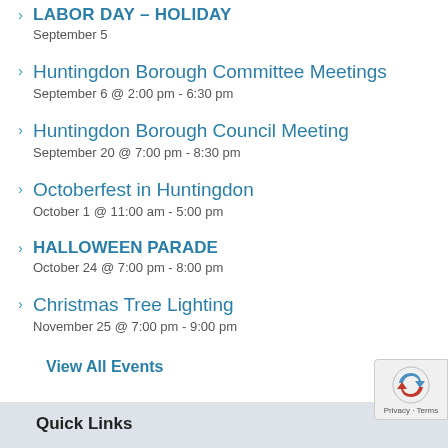LABOR DAY – HOLIDAY
September 5
Huntingdon Borough Committee Meetings
September 6 @ 2:00 pm - 6:30 pm
Huntingdon Borough Council Meeting
September 20 @ 7:00 pm - 8:30 pm
Octoberfest in Huntingdon
October 1 @ 11:00 am - 5:00 pm
HALLOWEEN PARADE
October 24 @ 7:00 pm - 8:00 pm
Christmas Tree Lighting
November 25 @ 7:00 pm - 9:00 pm
View All Events
Quick Links